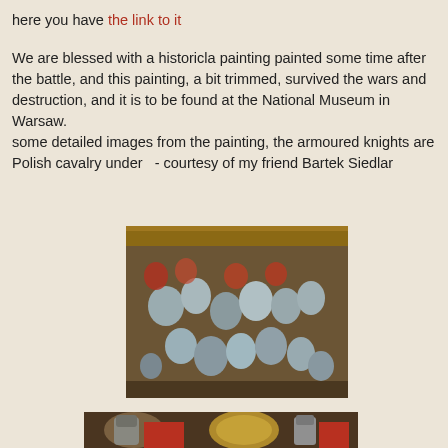here you have the link to it
We are blessed with a historicla painting painted some time after the battle, and this painting, a bit trimmed, survived the wars and destruction, and it is to be found at the National Museum in Warsaw.
some detailed images from the painting, the armoured knights are Polish cavalry under  - courtesy of my friend Bartek Siedlar
[Figure (photo): Detail from a historical painting showing armoured knights and cavalry, densely packed crowd of warriors in metal armor, colorful medieval battle scene.]
[Figure (photo): Close-up detail from historical painting showing armoured knights with elaborate helmets and red garments, Polish cavalry in battle.]